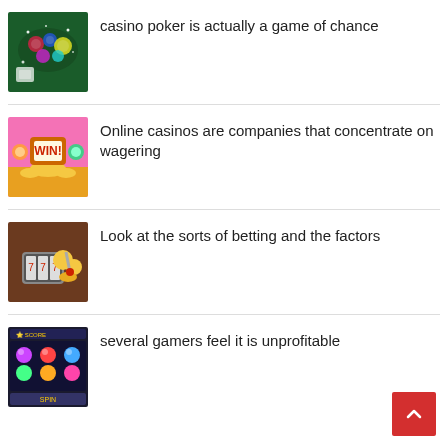[Figure (photo): Casino poker chips and cards on green felt table with glowing lights]
casino poker is actually a game of chance
[Figure (photo): Online casino colorful slot game with gold coins and cartoon characters on pink background]
Online casinos are companies that concentrate on wagering
[Figure (photo): Slot machine reels with casino chips and coins on brown background]
Look at the sorts of betting and the factors
[Figure (photo): Colorful slot machine game screen with gem symbols on dark background]
several gamers feel it is unprofitable